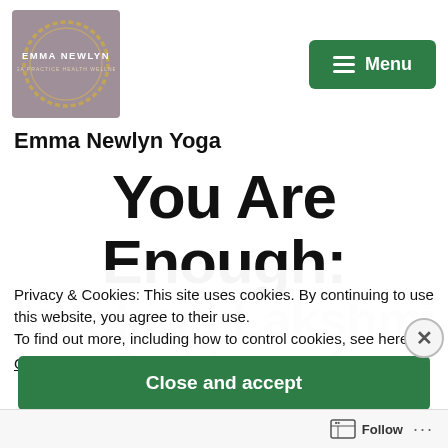[Figure (logo): Emma Newlyn Yoga logo: gold circle on mauve/grey background with text EMMA NEWLYN and YOGA PRACTICE HEALTH WELLNESS]
[Figure (screenshot): Green Menu button with hamburger icon in top right]
Emma Newlyn Yoga
You Are Enough:
Invoking Lakshmi Goddess of Abundance
Privacy & Cookies: This site uses cookies. By continuing to use this website, you agree to their use.
To find out more, including how to control cookies, see here:
Cookie Policy
Close and accept